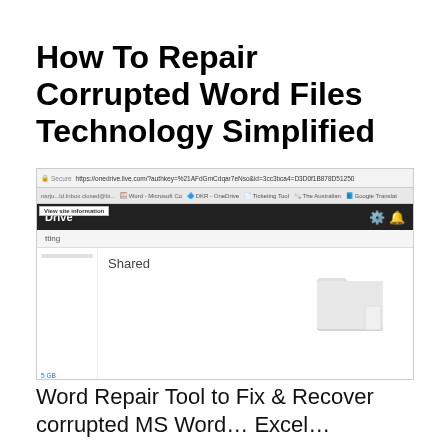How To Repair Corrupted Word Files Technology Simplified
[Figure (screenshot): Screenshot of OneDrive in a web browser showing a 'Shared' folder that is empty, with the message 'This folder is empty'. The browser shows an address bar with a OneDrive URL, bookmarks bar, dark toolbar with 'Drive' label. The folder view has a sidebar and the main area shows a folder icon with empty message.]
Word Repair Tool to Fix & Recover corrupted MS Word… Excel…